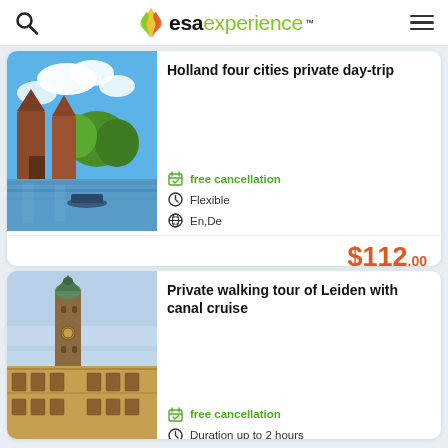esa experience
[Figure (photo): Holland canal scene with medieval brick gate towers, willow trees, blue sky with white clouds, and boats on the water]
Holland four cities private day-trip
free cancellation
Flexible
En,De
$112.00
[Figure (photo): Leiden city street with tall ornate historic building with green-capped tower and baroque facade]
Private walking tour of Leiden with canal cruise
free cancellation
Duration up to 2 hours